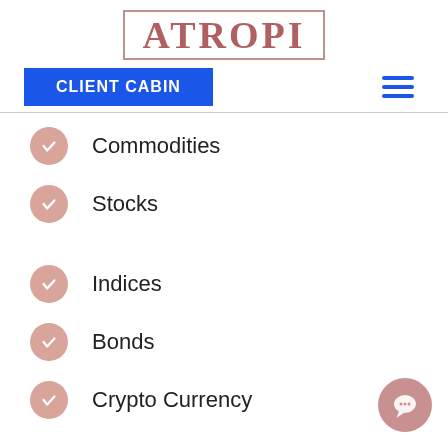[Figure (logo): ATROPI logo in serif font with decorative border]
CLIENT CABIN
Commodities
Stocks
Indices
Bonds
Crypto Currency